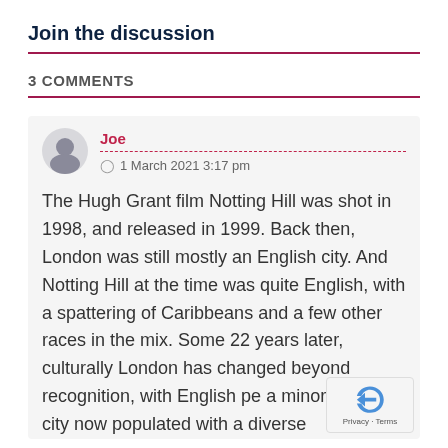Join the discussion
3 COMMENTS
Joe
1 March 2021 3:17 pm
The Hugh Grant film Notting Hill was shot in 1998, and released in 1999. Back then, London was still mostly an English city. And Notting Hill at the time was quite English, with a spattering of Caribbeans and a few other races in the mix. Some 22 years later, culturally London has changed beyond recognition, with English pe a minority, the city now populated with a diverse